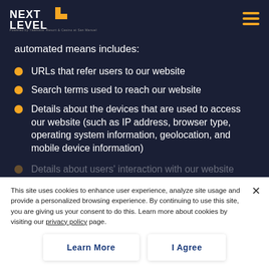Next Level Casino Careers
automated means includes:
URLs that refer users to our website
Search terms used to reach our website
Details about the devices that are used to access our website (such as IP address, browser type, operating system information, geolocation, and mobile device information)
Details about users' interaction with our website (such as the date, time, frequency, and length of visits, and specific pages accessed during the visits)
Web browsers may offer users of our website the
This site uses cookies to enhance user experience, analyze site usage and provide a personalized browsing experience. By continuing to use this site, you are giving us your consent to do this. Learn more about cookies by visiting our privacy policy page.